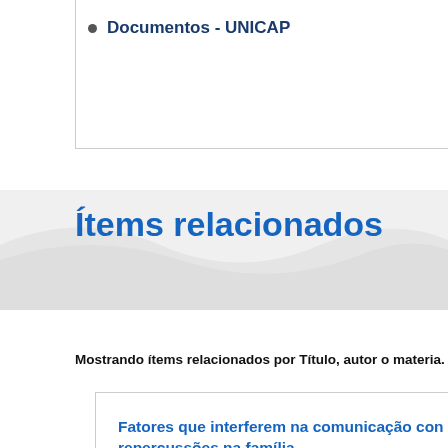Documentos - UNICAP
Ítems relacionados
Mostrando ítems relacionados por Título, autor o materia.
Fatores que interferem na comunicação con... repercussões na família
Silva Filho, Francisco Dias da; CPF:43116825491; http://latto...
(Universidade Católica de PernambucoUNICAPBRPsicologia Cl... Clínica, 2012-06-06)
This research investigated the factors that interfere in mari... repercussions. It is known that communication problems stan...